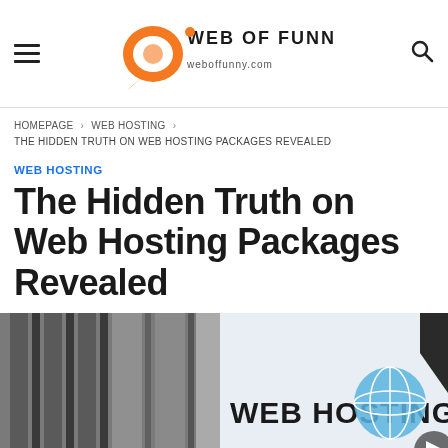Web of Funny
HOMEPAGE > WEB HOSTING > THE HIDDEN TRUTH ON WEB HOSTING PACKAGES REVEALED
WEB HOSTING
The Hidden Truth on Web Hosting Packages Revealed
[Figure (photo): Web hosting banner image showing a server building exterior on the left and a 'WEB HOSTING' sign with a globe graphic on the right]